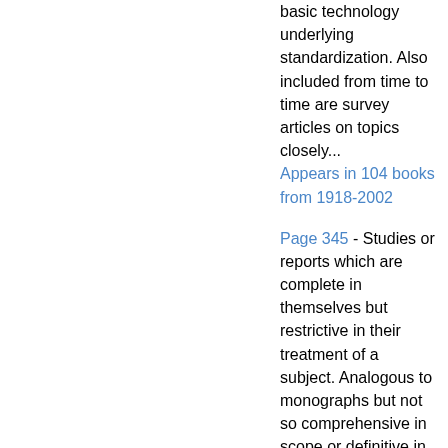basic technology underlying standardization. Also included from time to time are survey articles on topics closely...
Appears in 104 books from 1918-2002
Page 345 - Studies or reports which are complete in themselves but restrictive in their treatment of a subject. Analogous to monographs but not so comprehensive in scope or definitive in treatment of the subject area. Often serve as a vehicle for final reports of work performed at NBS under the sponsorship of other